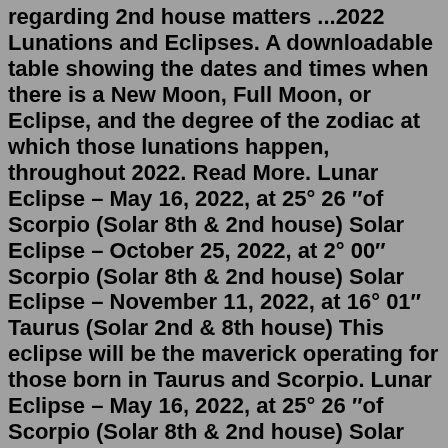regarding 2nd house matters ...2022 Lunations and Eclipses. A downloadable table showing the dates and times when there is a New Moon, Full Moon, or Eclipse, and the degree of the zodiac at which those lunations happen, throughout 2022. Read More. Lunar Eclipse – May 16, 2022, at 25° 26 ″of Scorpio (Solar 8th & 2nd house) Solar Eclipse – October 25, 2022, at 2° 00″ Scorpio (Solar 8th & 2nd house) Solar Eclipse – November 11, 2022, at 16° 01″ Taurus (Solar 2nd & 8th house) This eclipse will be the maverick operating for those born in Taurus and Scorpio. Lunar Eclipse – May 16, 2022, at 25° 26 ″of Scorpio (Solar 8th & 2nd house) Solar Eclipse – October 25, 2022, at 2° 00″ Scorpio (Solar 8th & 2nd house) Solar Eclipse – November 11, 2022, at 16° 01″ Taurus (Solar 2nd & 8th house) This eclipse will be the maverick operating for those born in Taurus and Scorpio. The longest partial lunar eclipse in a millennium dazzled night skies around the world, in an event dubbed the "Blood Moon" due to its red haze. November 19, 2021 10:15 a.m. EST Missed the near ...This the first total